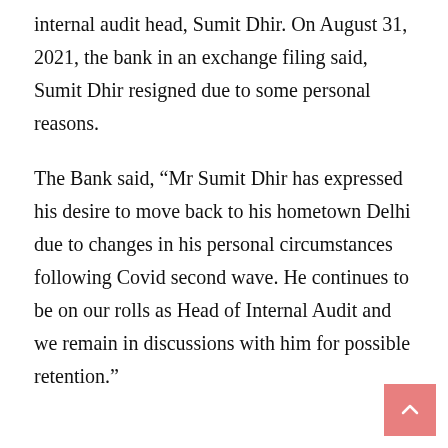internal audit head, Sumit Dhir. On August 31, 2021, the bank in an exchange filing said, Sumit Dhir resigned due to some personal reasons.
The Bank said, “Mr Sumit Dhir has expressed his desire to move back to his hometown Delhi due to changes in his personal circumstances following Covid second wave. He continues to be on our rolls as Head of Internal Audit and we remain in discussions with him for possible retention.”